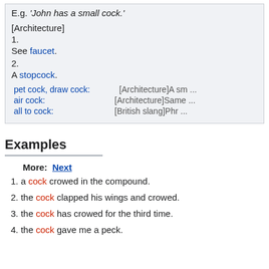E.g. 'John has a small cock.'
[Architecture]
1.
See faucet.
2.
A stopcock.
pet cock, draw cock: [Architecture]A sm ...
air cock: [Architecture]Same ...
all to cock: [British slang]Phr ...
Examples
More: Next
1. a cock crowed in the compound.
2. the cock clapped his wings and crowed.
3. the cock has crowed for the third time.
4. the cock gave me a peck.